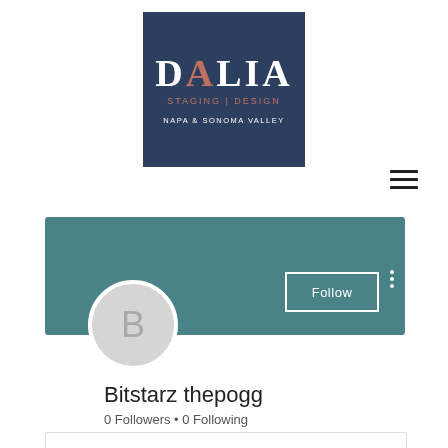[Figure (logo): Dalia Staging | Design logo on dark navy blue background with text NAPA & SONOMA VALLEY]
[Figure (screenshot): Social media profile page with teal banner, avatar circle with letter B, Follow button, options dots, username Bitstarz thepogg, 0 Followers, 0 Following]
Bitstarz thepogg
0 Followers • 0 Following